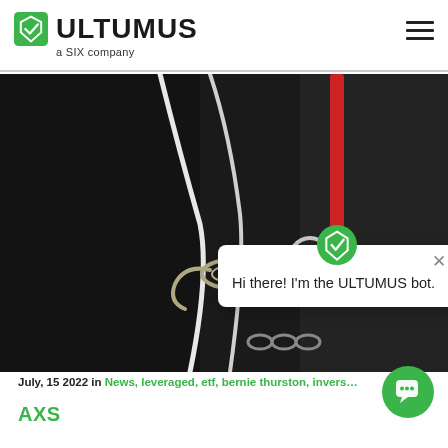[Figure (logo): Ultumus logo with green shield icon, bold ULTUMUS text, and 'a SIX company' subtitle]
[Figure (photo): Dark moody photo showing climbing hooks/carabiners with ropes against a dark wall, with a red element visible]
[Figure (screenshot): ULTUMUS chatbot popup overlay showing green shield icon, X close button, and text 'Hi there! I'm the ULTUMUS bot.']
[Figure (other): Green circular chat bubble button in bottom right corner]
July, 15 2022 in News, leveraged, etf, bernie thurston, invers…
AXS